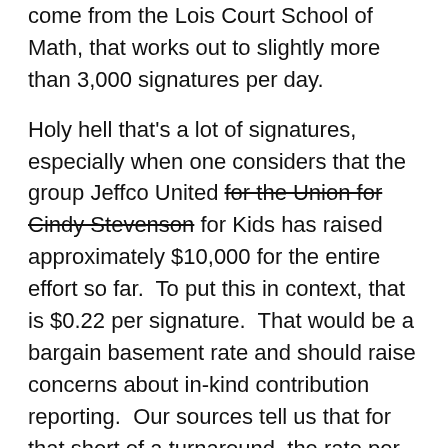come from the Lois Court School of Math, that works out to slightly more than 3,000 signatures per day.
Holy hell that's a lot of signatures, especially when one considers that the group Jeffco United for the Union for Cindy Stevenson for Kids has raised approximately $10,000 for the entire effort so far.  To put this in context, that is $0.22 per signature.  That would be a bargain basement rate and should raise concerns about in-kind contribution reporting.  Our sources tell us that for that short of a turnaround, the rate per signature could be as high as $10 per signature.
Of course, that's just getting the 45,000 signatures necessary to make the ballot. To be safe, Jeffco United for JCEA would have to